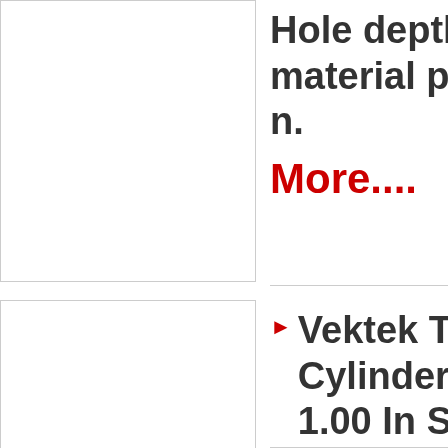[Figure (photo): Product image placeholder - top left, white box with border]
Hole depth material po n. More....
[Figure (photo): Product image placeholder - bottom left, white box with border]
▶ Vektek Th Cylinders T 1.00 In Str